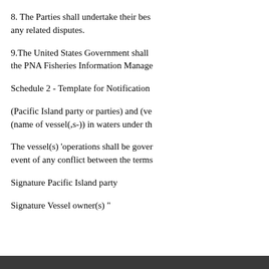8. The Parties shall undertake their best efforts to resolve any related disputes.
9.The United States Government shall the PNA Fisheries Information Manage
Schedule 2 - Template for Notification
(Pacific Island party or parties) and (ve (name of vessel(,s-)) in waters under th
The vessel(s) 'operations shall be gover event of any conflict between the terms
Signature Pacific Island party
Signature Vessel owner(s) "